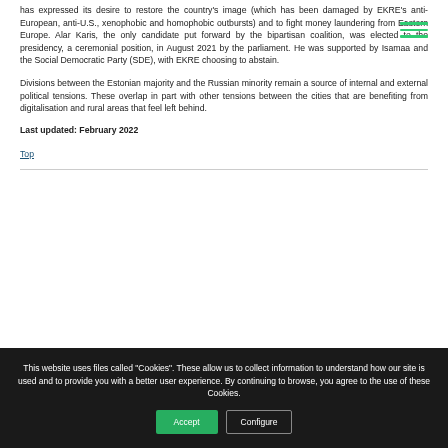has expressed its desire to restore the country's image (which has been damaged by EKRE's anti-European, anti-U.S., xenophobic and homophobic outbursts) and to fight money laundering from Eastern Europe. Alar Karis, the only candidate put forward by the bipartisan coalition, was elected to the presidency, a ceremonial position, in August 2021 by the parliament. He was supported by Isamaa and the Social Democratic Party (SDE), with EKRE choosing to abstain.
Divisions between the Estonian majority and the Russian minority remain a source of internal and external political tensions. These overlap in part with other tensions between the cities that are benefiting from digitalisation and rural areas that feel left behind.
Last updated: February 2022
Top
This website uses files called "Cookies". These allow us to collect information to understand how our site is used and to provide you with a better user experience. By continuing to browse, you agree to the use of these Cookies.